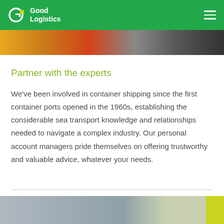Good Logistics
[Figure (photo): Colorful image strip showing cargo/shipping scenes in orange, red, grey tones]
Partner with the experts
We've been involved in container shipping since the first container ports opened in the 1960s, establishing the considerable sea transport knowledge and relationships needed to navigate a complex industry. Our personal account managers pride themselves on offering trustworthy and valuable advice, whatever your needs.
[Figure (photo): Bottom image strip showing partial shipping/logistics scene with yellow accent block]